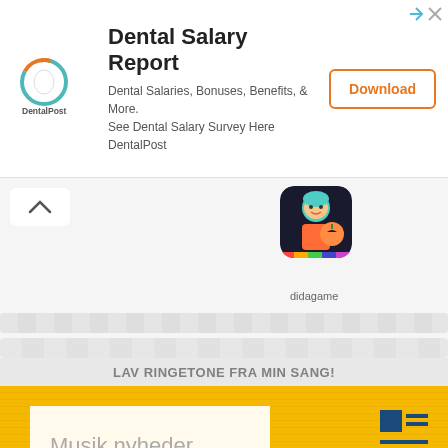[Figure (screenshot): DentalPost advertisement banner with logo, 'Dental Salary Report' title, description text, and Download button]
[Figure (screenshot): App store or music app interface showing a game app icon (didagame) and navigation chevron button, with blurred content rows]
LAV RINGETONE FRA MIN SANG!
Musik nyheder
[Figure (infographic): Layout icon with blue square and text lines on yellow background]